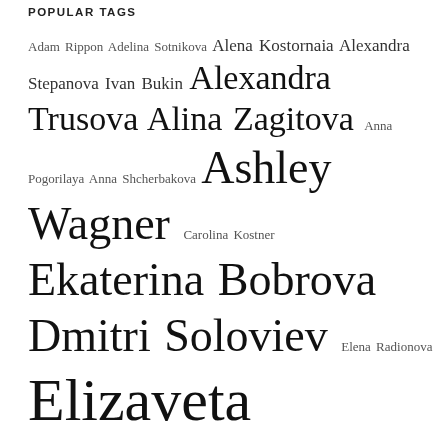POPULAR TAGS
Adam Rippon Adelina Sotnikova Alena Kostornaia Alexandra Stepanova Ivan Bukin Alexandra Trusova Alina Zagitova Anna Pogorilaya Anna Shcherbakova Ashley Wagner Carolina Kostner Ekaterina Bobrova Dmitri Soloviev Elena Radionova Elizaveta Tuktamysheva Eteri Tutberidze Evgenia Medvedeva Evgeni Plushenko Gabriella Papadakis Guillaume Cizeron ice dance interview Jason Brown Javier